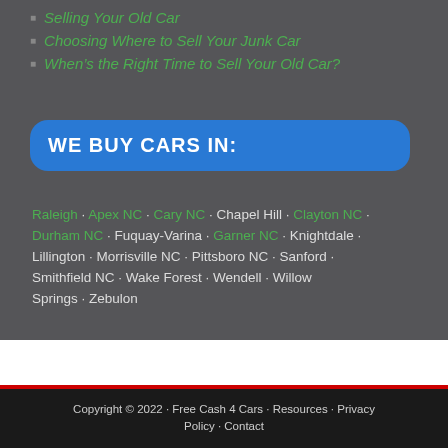Selling Your Old Car
Choosing Where to Sell Your Junk Car
When's the Right Time to Sell Your Old Car?
WE BUY CARS IN:
Raleigh · Apex NC · Cary NC · Chapel Hill · Clayton NC · Durham NC · Fuquay-Varina · Garner NC · Knightdale · Lillington · Morrisville NC · Pittsboro NC · Sanford · Smithfield NC · Wake Forest · Wendell · Willow Springs · Zebulon
Copyright © 2022 · Free Cash 4 Cars · Resources · Privacy Policy · Contact